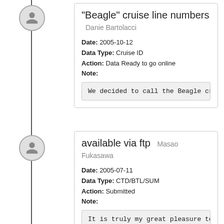"Beagle" cruise line numbers — Danie Bartolacci
Date: 2005-10-12
Data Type: Cruise ID
Action: Data Ready to go online
Note:
We decided to call the Beagle cruises by th
available via ftp — Masao Fukasawa
Date: 2005-07-11
Data Type: CTD/BTL/SUM
Action: Submitted
Note:
It is truly my great pleasure to tell you t